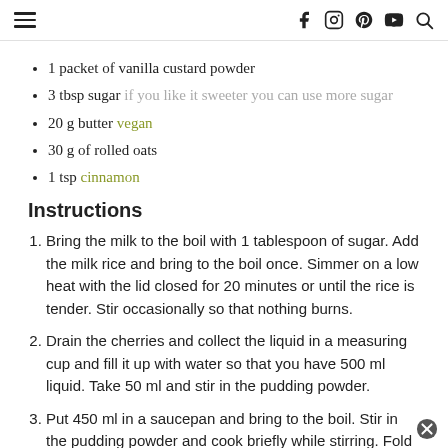≡ [hamburger menu] [facebook] [instagram] [pinterest] [youtube] [search]
1 packet of vanilla custard powder
3 tbsp sugar if you like it sweeter you can use more sugar
20 g butter vegan
30 g of rolled oats
1 tsp cinnamon
Instructions
Bring the milk to the boil with 1 tablespoon of sugar. Add the milk rice and bring to the boil once. Simmer on a low heat with the lid closed for 20 minutes or until the rice is tender. Stir occasionally so that nothing burns.
Drain the cherries and collect the liquid in a measuring cup and fill it up with water so that you have 500 ml liquid. Take 50 ml and stir in the pudding powder.
Put 450 ml in a saucepan and bring to the boil. Stir in the pudding powder and cook briefly while stirring. Fold in the cherries.